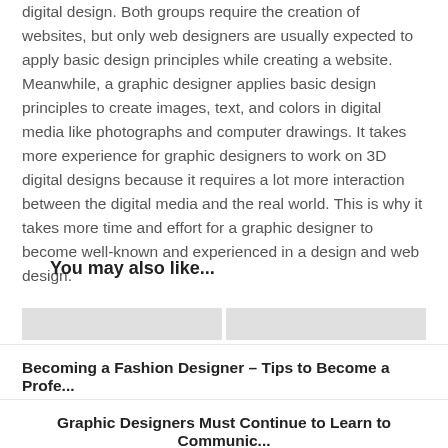digital design. Both groups require the creation of websites, but only web designers are usually expected to apply basic design principles while creating a website. Meanwhile, a graphic designer applies basic design principles to create images, text, and colors in digital media like photographs and computer drawings. It takes more experience for graphic designers to work on 3D digital designs because it requires a lot more interaction between the digital media and the real world. This is why it takes more time and effort for a graphic designer to become well-known and experienced in a design and web design.
You may also like...
Becoming a Fashion Designer – Tips to Become a Profe...
Graphic Designers Must Continue to Learn to Communic...